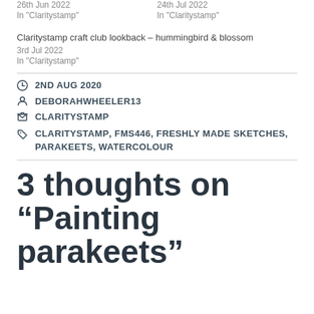26th Jun 2022
In "Claritystamp"
24th Jul 2022
In "Claritystamp"
Claritystamp craft club lookback – hummingbird & blossom
3rd Jul 2022
In "Claritystamp"
2ND AUG 2020
DEBORAHWHEELER13
CLARITYSTAMP
CLARITYSTAMP, FMS446, FRESHLY MADE SKETCHES, PARAKEETS, WATERCOLOUR
3 thoughts on “Painting parakeets”